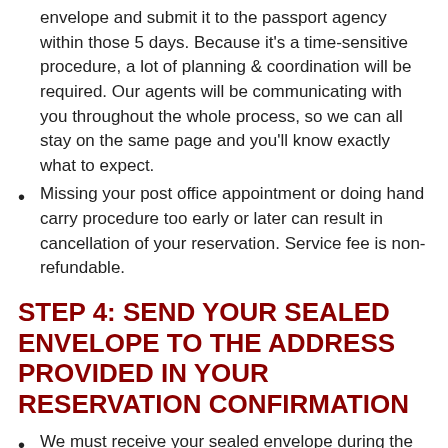envelope and submit it to the passport agency within those 5 days. Because it's a time-sensitive procedure, a lot of planning & coordination will be required. Our agents will be communicating with you throughout the whole process, so we can all stay on the same page and you'll know exactly what to expect.
Missing your post office appointment or doing hand carry procedure too early or later can result in cancellation of your reservation. Service fee is non-refundable.
STEP 4: SEND YOUR SEALED ENVELOPE TO THE ADDRESS PROVIDED IN YOUR RESERVATION CONFIRMATION
We must receive your sealed envelope during the time frame specified in your reservation confirmation.
FEES